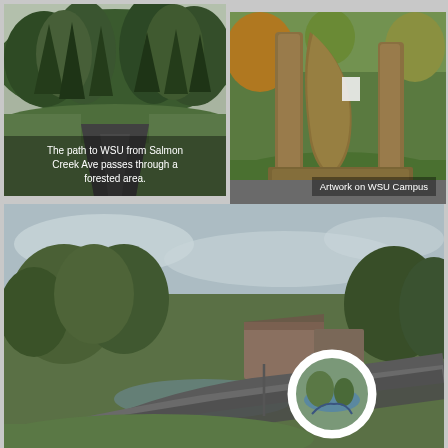[Figure (photo): A paved path winding through a forested area with tall evergreen trees and green grass on a cloudy day. Caption reads: The path to WSU from Salmon Creek Ave passes through a forested area.]
[Figure (photo): Close-up of large bronze sculptural artwork on WSU Campus, set on a green lawn with trees in background. Caption reads: Artwork on WSU Campus.]
[Figure (photo): Wide view of WSU campus showing a curved road, campus buildings, trees with autumn foliage, green lawn, and a circular inset thumbnail of a path. Overcast sky.]